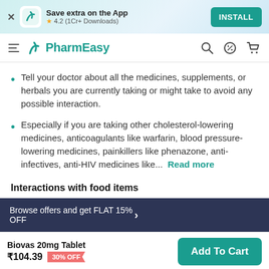[Figure (screenshot): PharmEasy app install banner with icon, rating 4.2 (1Cr+ Downloads), and INSTALL button]
[Figure (screenshot): PharmEasy navigation bar with hamburger menu, logo, search, discount, and cart icons]
Tell your doctor about all the medicines, supplements, or herbals you are currently taking or might take to avoid any possible interaction.
Especially if you are taking other cholesterol-lowering medicines, anticoagulants like warfarin, blood pressure-lowering medicines, painkillers like phenazone, anti-infectives, anti-HIV medicines like... Read more
Interactions with food items
Browse offers and get FLAT 15% OFF
Biovas 20mg Tablet ₹104.39 30% OFF Add To Cart